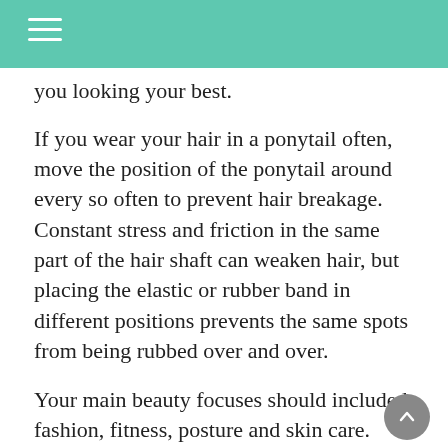you looking your best.
If you wear your hair in a ponytail often, move the position of the ponytail around every so often to prevent hair breakage. Constant stress and friction in the same part of the hair shaft can weaken hair, but placing the elastic or rubber band in different positions prevents the same spots from being rubbed over and over.
Your main beauty focuses should included fashion, fitness, posture and skin care.